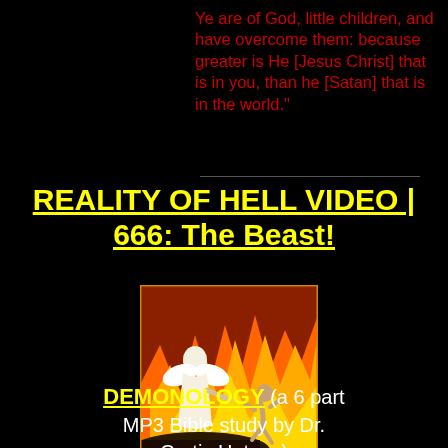Ye are of God, little children, and have overcome them: because greater is He [Jesus Christ] that is in you, than he [Satan] that is in the world."
REALITY OF HELL VIDEO | 666: The Beast!
[Figure (illustration): Painting of a white-robed angel gesturing toward a small human figure falling into flames and fire]
DEMONOLOGY (a 6 part MP3 Bible study by Dr. Curtis Hutson)